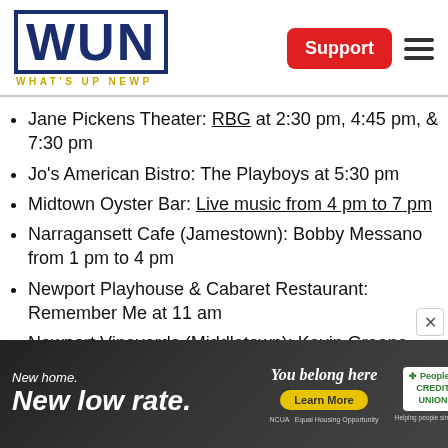WUN — WHAT'S UP NEWP
Jane Pickens Theater: RBG at 2:30 pm, 4:45 pm, & 7:30 pm
Jo's American Bistro: The Playboys at 5:30 pm
Midtown Oyster Bar: Live music from 4 pm to 7 pm
Narragansett Cafe (Jamestown): Bobby Messano from 1 pm to 4 pm
Newport Playhouse & Cabaret Restaurant: Remember Me at 11 am
Newport Vineyards (Middletown): Kevin Greene
[Figure (advertisement): People's Credit Union advertisement: New home. New low rate. You belong here. Learn More. NCUA. Equal Housing Opportunity. People's Credit Union — Helping people since 1922.]